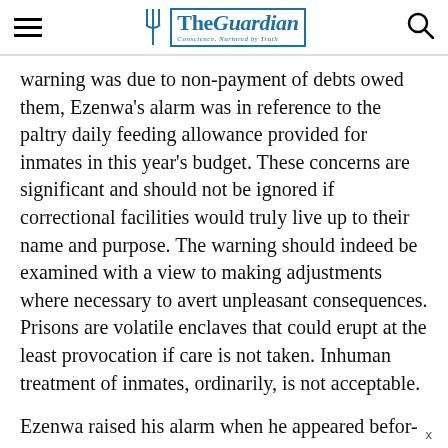The Guardian — Conscience, Nurtured by Truth
warning was due to non-payment of debts owed them, Ezenwa's alarm was in reference to the paltry daily feeding allowance provided for inmates in this year's budget. These concerns are significant and should not be ignored if correctional facilities would truly live up to their name and purpose. The warning should indeed be examined with a view to making adjustments where necessary to avert unpleasant consequences. Prisons are volatile enclaves that could erupt at the least provocation if care is not taken. Inhuman treatment of inmates, ordinarily, is not acceptable.
Ezenwa raised his alarm when he appeared befor-